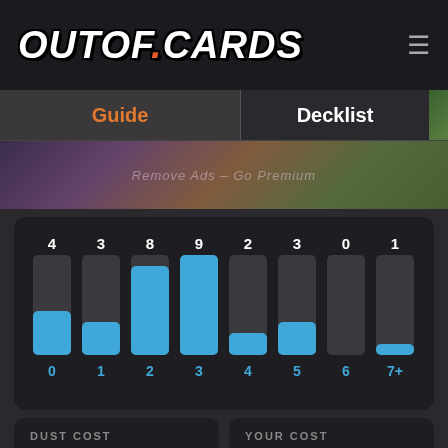OUTOF.CARDS
Guide
Decklist
Remove Ads – Go Premium
[Figure (bar-chart): Mana Curve]
DUST COST
7160
YOUR COST
7160